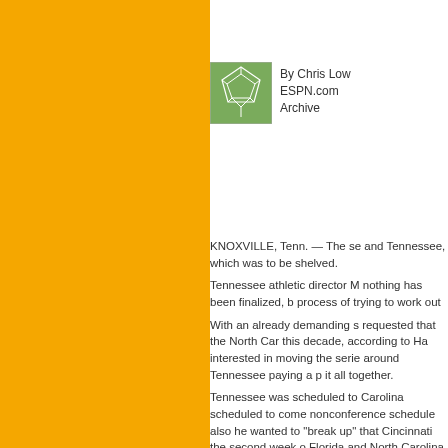[Figure (illustration): Green soccer/football field aerial view icon with white pentagon/polygon lines]
By Chris Low
ESPN.com
Archive
KNOXVILLE, Tenn. — The se and Tennessee, which was to be shelved. Tennessee athletic director M nothing has been finalized, b process of trying to work out With an already demanding s requested that the North Car this decade, according to Ha interested in moving the serie around Tennessee paying a p it all together. Tennessee was scheduled to Carolina scheduled to come nonconference schedule also he wanted to "break up" that Cincinnati the second week o Florida and North Carolina fo